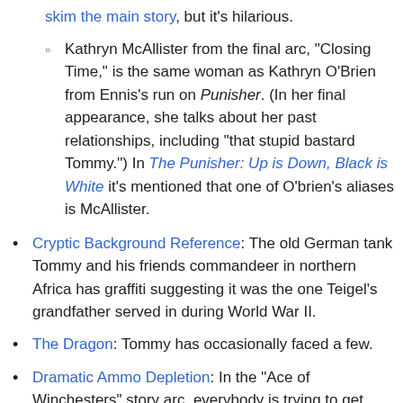skim the main story, but it's hilarious.
Kathryn McAllister from the final arc, "Closing Time," is the same woman as Kathryn O'Brien from Ennis's run on Punisher. (In her final appearance, she talks about her past relationships, including "that stupid bastard Tommy.") In The Punisher: Up is Down, Black is White it's mentioned that one of O'brien's aliases is McAllister.
Cryptic Background Reference: The old German tank Tommy and his friends commandeer in northern Africa has graffiti suggesting it was the one Teigel's grandfather served in during World War II.
The Dragon: Tommy has occasionally faced a few.
Dramatic Ammo Depletion: In the "Ace of Winchesters" story arc, everybody is trying to get their hands on the eponymous rifle, as it's a gun capable of killing demons. Etrigan literally has to go deep into Hell in order to retrieve it. Tommy finally gets the gun just as he's about to be